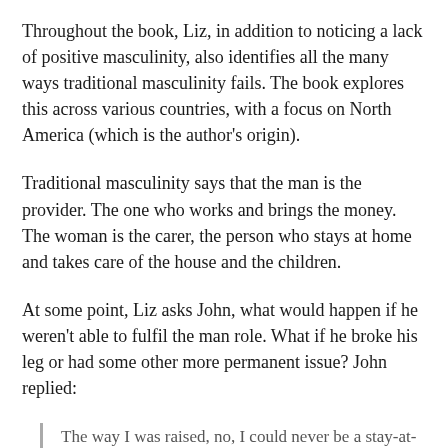Throughout the book, Liz, in addition to noticing a lack of positive masculinity, also identifies all the many ways traditional masculinity fails. The book explores this across various countries, with a focus on North America (which is the author's origin).
Traditional masculinity says that the man is the provider. The one who works and brings the money. The woman is the carer, the person who stays at home and takes care of the house and the children.
At some point, Liz asks John, what would happen if he weren't able to fulfil the man role. What if he broke his leg or had some other more permanent issue? John replied:
The way I was raised, no, I could never be a stay-at-home father. I'd have to go out and work. I can't fathom the idea of a woman supporting me. It's just